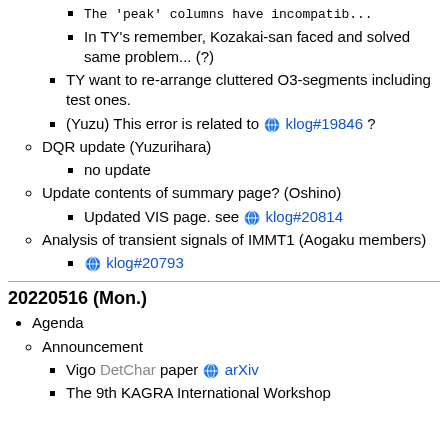The 'peak' columns have incompatib...
In TY's remember, Kozakai-san faced and solved same problem... (?)
TY want to re-arrange cluttered O3-segments including test ones.
(Yuzu) This error is related to [globe] klog#19846 ?
DQR update (Yuzurihara)
no update
Update contents of summary page? (Oshino)
Updated VIS page. see [globe] klog#20814
Analysis of transient signals of IMMT1 (Aogaku members)
[globe] klog#20793
20220516 (Mon.)
Agenda
Announcement
Vigo DetChar paper [globe] arXiv
The 9th KAGRA International Workshop